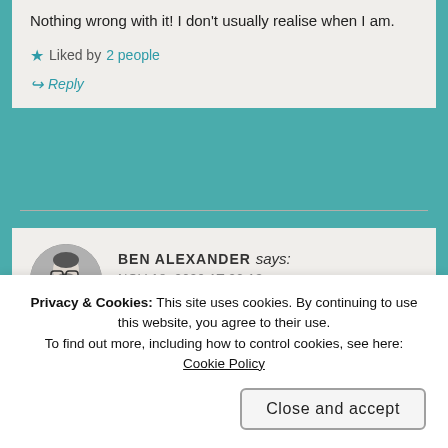Nothing wrong with it! I don’t usually realise when I am.
★ Liked by 2 people
Reply
BEN ALEXANDER says:
NOV 18, 2020 AT 22:13
Privacy & Cookies: This site uses cookies. By continuing to use this website, you agree to their use.
To find out more, including how to control cookies, see here: Cookie Policy
Close and accept